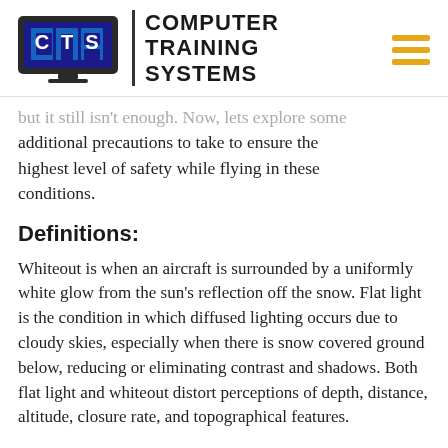Computer Training Systems
but it still isn't enough. Now, lets explore some additional precautions to take to ensure the highest level of safety while flying in these conditions.
Definitions:
Whiteout is when an aircraft is surrounded by a uniformly white glow from the sun's reflection off the snow. Flat light is the condition in which diffused lighting occurs due to cloudy skies, especially when there is snow covered ground below, reducing or eliminating contrast and shadows. Both flat light and whiteout distort perceptions of depth, distance, altitude, closure rate, and topographical features.